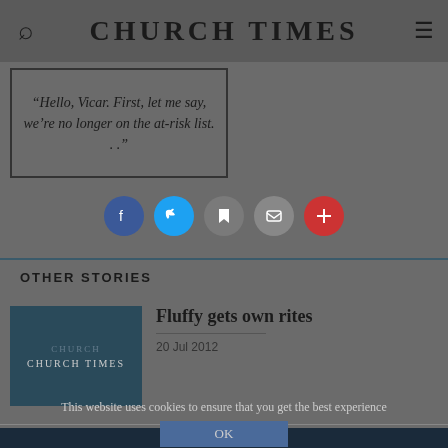CHURCH TIMES
[Figure (illustration): Quote box with text: “Hello, Vicar. First, let me say, we’re no longer on the at-risk list. . .”]
[Figure (infographic): Row of social sharing icon buttons: Facebook, Twitter, Bookmark, Email, Plus/More]
OTHER STORIES
[Figure (screenshot): Church Times logo thumbnail image in dark teal]
Fluffy gets own rites
20 Jul 2012
This website uses cookies to ensure that you get the best experience
OK
View Privacy Policy